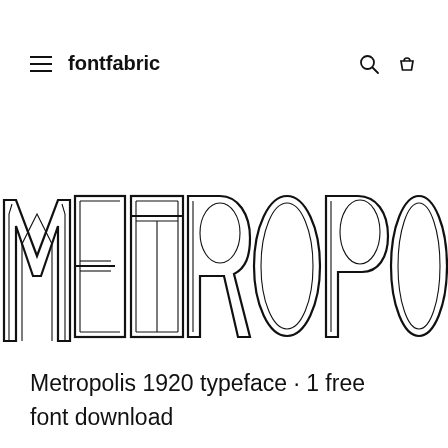fontfabric
[Figure (illustration): Large decorative display text reading METROPOLIS in an Art Deco inline/outlined font style, black on white, spanning the full width of the page]
Metropolis 1920 typeface · 1 free font download